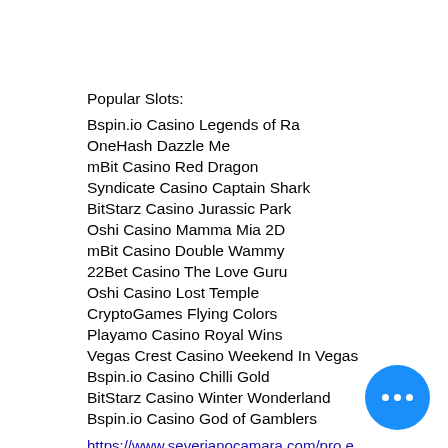Popular Slots:
Bspin.io Casino Legends of Ra
OneHash Dazzle Me
mBit Casino Red Dragon
Syndicate Casino Captain Shark
BitStarz Casino Jurassic Park
Oshi Casino Mamma Mia 2D
mBit Casino Double Wammy
22Bet Casino The Love Guru
Oshi Casino Lost Temple
CryptoGames Flying Colors
Playamo Casino Royal Wins
Vegas Crest Casino Weekend In Vegas
Bspin.io Casino Chilli Gold
BitStarz Casino Winter Wonderland
Bspin.io Casino God of Gamblers
https://www.severianocamara.com/pro edstobierski5039096/profile
https://www.info.mtsmod.com/profile/javiervilll